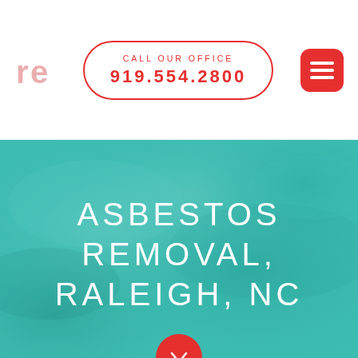[Figure (logo): Red stylized 're' logo mark in top left corner]
CALL OUR OFFICE
919.554.2800
[Figure (other): Red rounded rectangle hamburger menu button with three white horizontal lines]
[Figure (photo): Teal/turquoise colored background with smoky texture overlay]
ASBESTOS REMOVAL, RALEIGH, NC